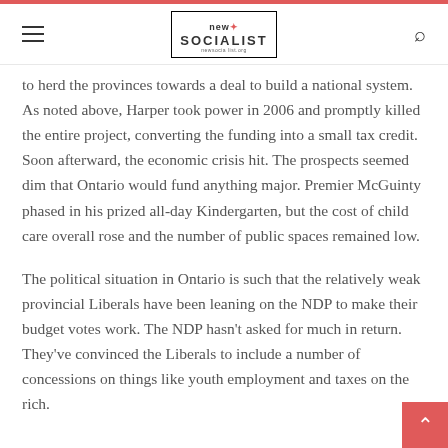new socialist
to herd the provinces towards a deal to build a national system. As noted above, Harper took power in 2006 and promptly killed the entire project, converting the funding into a small tax credit. Soon afterward, the economic crisis hit. The prospects seemed dim that Ontario would fund anything major. Premier McGuinty phased in his prized all-day Kindergarten, but the cost of child care overall rose and the number of public spaces remained low.
The political situation in Ontario is such that the relatively weak provincial Liberals have been leaning on the NDP to make their budget votes work. The NDP hasn't asked for much in return. They've convinced the Liberals to include a number of concessions on things like youth employment and taxes on the rich.